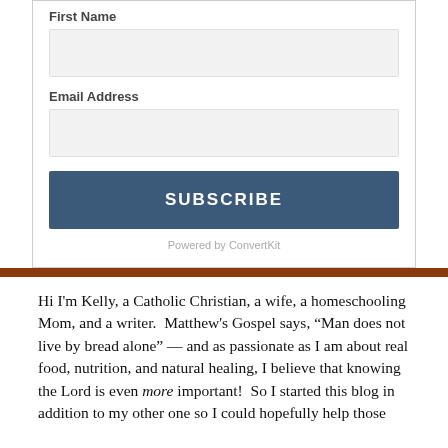First Name
[Figure (other): Text input field for First Name]
Email Address
[Figure (other): Text input field for Email Address]
SUBSCRIBE
Powered by ConvertKit
Hi I'm Kelly, a Catholic Christian, a wife, a homeschooling Mom, and a writer.  Matthew's Gospel says, “Man does not live by bread alone” — and as passionate as I am about real food, nutrition, and natural healing, I believe that knowing the Lord is even more important!  So I started this blog in addition to my other one so I could hopefully help those